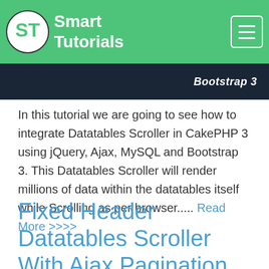[Figure (logo): Smart Tutorials logo with green header bar and hamburger menu icon]
Bootstrap 3
In this tutorial we are going to see how to integrate Datatables Scroller in CakePHP 3 using jQuery, Ajax, MySQL and Bootstrap 3. This Datatables Scroller will render millions of data within the datatables itself while Scrolling as per browser..... Read More >>>>
Fixed Header Datatables Scroller With Ajax Pagination Search Filter in